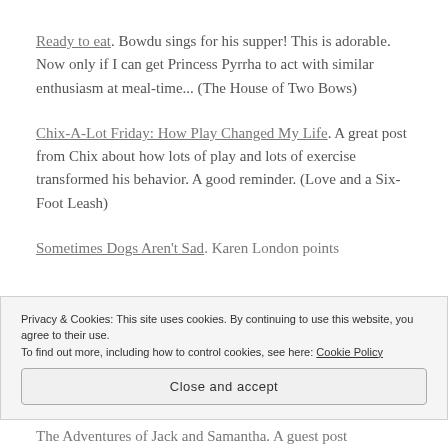Ready to eat. Bowdu sings for his supper! This is adorable. Now only if I can get Princess Pyrrha to act with similar enthusiasm at meal-time... (The House of Two Bows)
Chix-A-Lot Friday: How Play Changed My Life. A great post from Chix about how lots of play and lots of exercise transformed his behavior. A good reminder. (Love and a Six-Foot Leash)
Sometimes Dogs Aren't Sad. Karen London points
Privacy & Cookies: This site uses cookies. By continuing to use this website, you agree to their use.
To find out more, including how to control cookies, see here: Cookie Policy
Close and accept
The Adventures of Jack and Samantha. A guest post